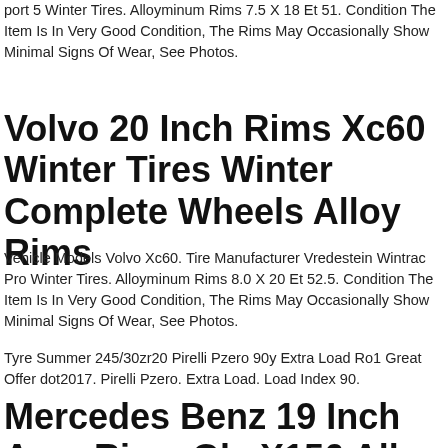port 5 Winter Tires. Alloyminum Rims 7.5 X 18 Et 51. Condition The Item Is In Very Good Condition, The Rims May Occasionally Show Minimal Signs Of Wear, See Photos.
Volvo 20 Inch Rims Xc60 Winter Tires Winter Complete Wheels Alloy Rims
Vehicle Models Volvo Xc60. Tire Manufacturer Vredestein Wintrac Pro Winter Tires. Alloyminum Rims 8.0 X 20 Et 52.5. Condition The Item Is In Very Good Condition, The Rims May Occasionally Show Minimal Signs Of Wear, See Photos.
Tyre Summer 245/30zr20 Pirelli Pzero 90y Extra Load Ro1 Great Offer dot2017. Pirelli Pzero. Extra Load. Load Index 90.
Mercedes Benz 19 Inch Amg Rims Gla X156 Alloy Rims Summer